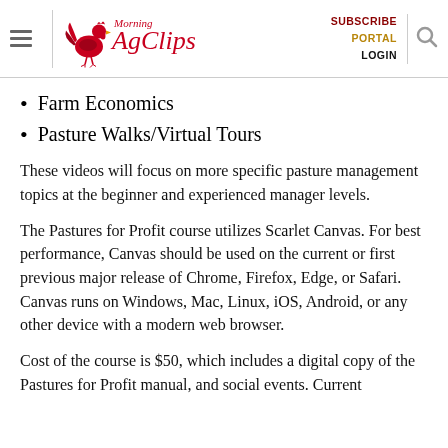Morning AgClips — SUBSCRIBE PORTAL LOGIN
Farm Economics
Pasture Walks/Virtual Tours
These videos will focus on more specific pasture management topics at the beginner and experienced manager levels.
The Pastures for Profit course utilizes Scarlet Canvas. For best performance, Canvas should be used on the current or first previous major release of Chrome, Firefox, Edge, or Safari. Canvas runs on Windows, Mac, Linux, iOS, Android, or any other device with a modern web browser.
Cost of the course is $50, which includes a digital copy of the Pastures for Profit manual, and social events. Current